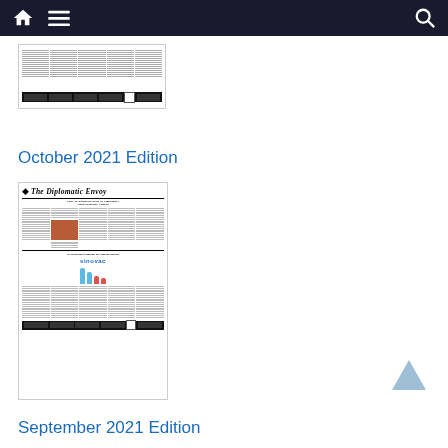Navigation bar with home, menu, and search icons
[Figure (screenshot): Partial thumbnail of a previous edition newspaper (The Diplomatic Envoy) showing text columns and footer with QR code]
October 2021 Edition
[Figure (screenshot): Thumbnail of October 2021 edition of The Diplomatic Envoy newspaper, showing headline 'Chile to Reinstate State of Emergency Amid Mapoche Attacks', a photo, and a Sinovac advertisement with 'WHO Declares Support for Sinovac Booster']
September 2021 Edition